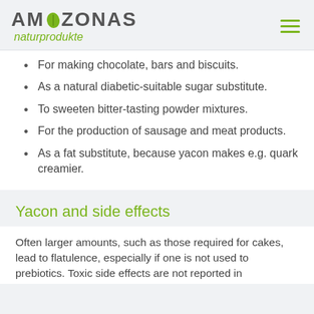AMAZONAS naturprodukte
For making chocolate, bars and biscuits.
As a natural diabetic-suitable sugar substitute.
To sweeten bitter-tasting powder mixtures.
For the production of sausage and meat products.
As a fat substitute, because yacon makes e.g. quark creamier.
Yacon and side effects
Often larger amounts, such as those required for cakes, lead to flatulence, especially if one is not used to prebiotics. Toxic side effects are not reported in the literature.